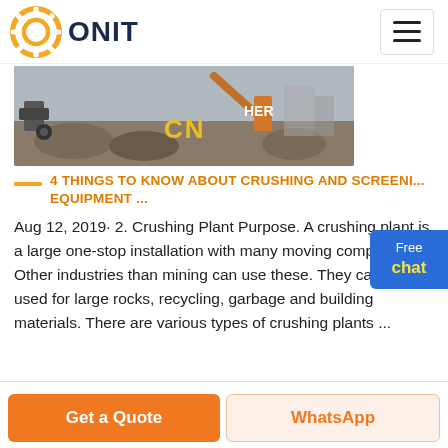ONIT
[Figure (photo): Construction/mining site with heavy machinery, yellow CN letters visible, orange excavator arm on the right]
4 THINGS TO KNOW ABOUT CRUSHING AND SCREENING EQUIPMENT ...
Aug 12, 2019· 2. Crushing Plant Purpose. A crushing plant is a large one-stop installation with many moving components. Other industries than mining can use these. They can be used for large rocks, recycling, garbage and building materials. There are various types of crushing plants ...
Get a Quote | WhatsApp